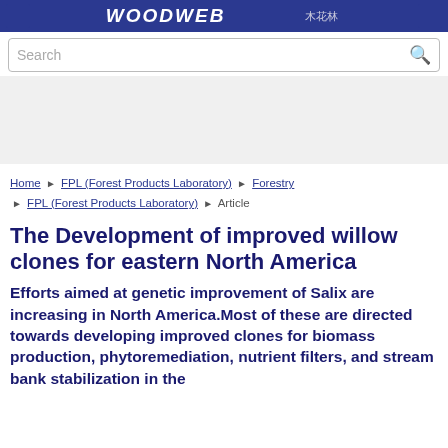WOODWEB
Search
[Figure (other): Advertisement area]
Home › FPL (Forest Products Laboratory) › Forestry › FPL (Forest Products Laboratory) › Article
The Development of improved willow clones for eastern North America
Efforts aimed at genetic improvement of Salix are increasing in North America.Most of these are directed towards developing improved clones for biomass production, phytoremediation, nutrient filters, and stream bank stabilization in the